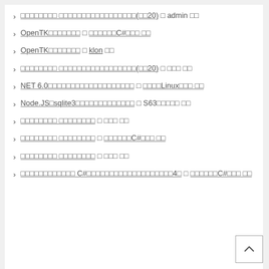□□□□□□□□ □□□□□□□□□□□□□□□□□(□□20) □ admin □□
OpenTK□□□□□□□ □ □□□□□□C#□□□ □□
OpenTK□□□□□□□ □ klon □□
□□□□□□□□ □□□□□□□□□□□□□□□□□(□□20) □ □□□ □□
NET 6.0□□□□□□□□□□□□□□□□□□□ □ □□□□Linux□□□ □□
Node.JS□sqlite3□□□□□□□□□□□□□ □ S63□□□□□ □□
□□□□□□□□ □□□□□□□□ □ □□□ □□
□□□□□□□□ □□□□□□□□ □ □□□□□□C#□□□ □□
□□□□□□□□ □□□□□□□□ □ □□□ □□
□□□□□□□□□□□□ C#□□□□□□□□□□□□□□□□□□□4□ □ □□□□□□C#□□□ □□